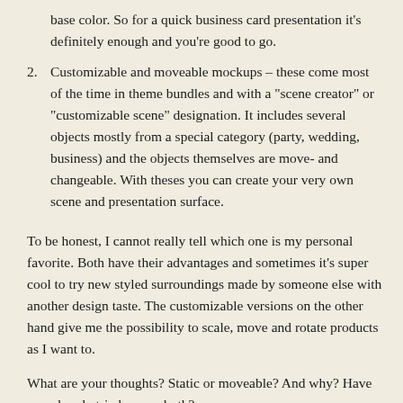base color. So for a quick business card presentation it's definitely enough and you're good to go.
Customizable and moveable mockups – these come most of the time in theme bundles and with a "scene creator" or "customizable scene" designation. It includes several objects mostly from a special category (party, wedding, business) and the objects themselves are move- and changeable. With theses you can create your very own scene and presentation surface.
To be honest, I cannot really tell which one is my personal favorite. Both have their advantages and sometimes it's super cool to try new styled surroundings made by someone else with another design taste. The customizable versions on the other hand give me the possibility to scale, move and rotate products as I want to.
What are your thoughts? Static or moveable? And why? Have you already tried one or both?